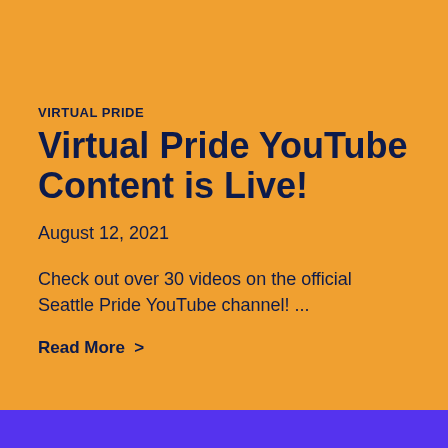VIRTUAL PRIDE
Virtual Pride YouTube Content is Live!
August 12, 2021
Check out over 30 videos on the official Seattle Pride YouTube channel! ...
Read More  >